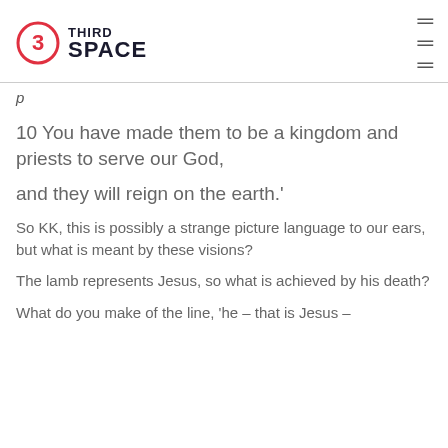THIRD SPACE
10 You have made them to be a kingdom and priests to serve our God,
and they will reign on the earth.'
So KK, this is possibly a strange picture language to our ears, but what is meant by these visions?
The lamb represents Jesus, so what is achieved by his death?
What do you make of the line, 'he – that is Jesus –